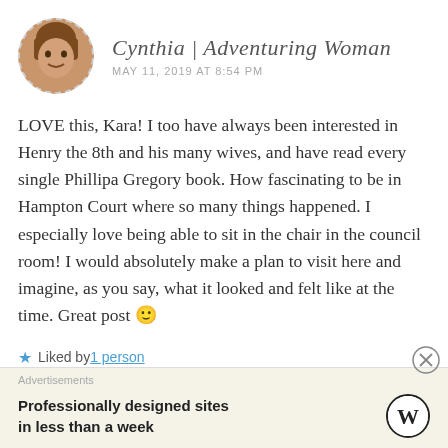Cynthia | Adventuring Woman — MAY 11, 2019 AT 8:54 PM
LOVE this, Kara! I too have always been interested in Henry the 8th and his many wives, and have read every single Phillipa Gregory book. How fascinating to be in Hampton Court where so many things happened. I especially love being able to sit in the chair in the council room! I would absolutely make a plan to visit here and imagine, as you say, what it looked and felt like at the time. Great post 🙂
★ Liked by 1 person
Advertisements
Professionally designed sites in less than a week